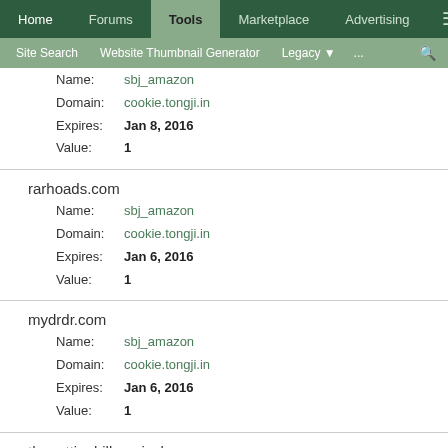Home | Forums | Tools | Marketplace | Advertising
Site Search | Website Thumbnail Generator | Legacy | ...
Name: sbj_amazon
Domain: cookie.tongji.in
Expires: Jan 8, 2016
Value: 1
rarhoads.com
Name: sbj_amazon
Domain: cookie.tongji.in
Expires: Jan 6, 2016
Value: 1
mydrdr.com
Name: sbj_amazon
Domain: cookie.tongji.in
Expires: Jan 6, 2016
Value: 1
thenottinghillcarnival.com
Name: sbj_amazon
Domain: cookie.tongji.in
Expires: Jan 4, 2016
Value: 1